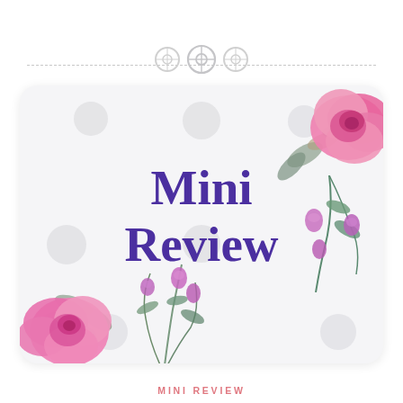[Figure (illustration): Decorative card with 'Mini Review' text in purple, floral rose illustrations in pink at corners and bottom, polka dot pattern on light grey card background, button embellishments at top with dashed line, pink bottom label reading 'MINI REVIEW']
MINI REVIEW